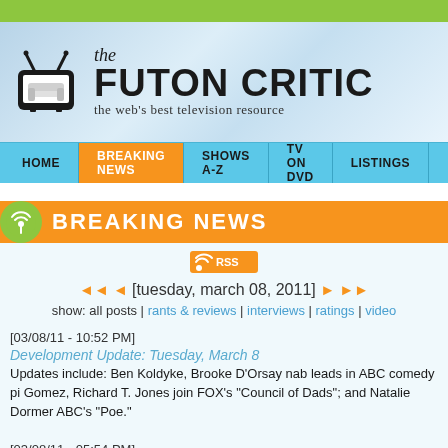[Figure (logo): The Futon Critic website header with TV logo icon and site name]
HOME | BREAKING NEWS | SHOWS A-Z | TV ON DVD | LISTINGS
BREAKING NEWS
RSS
[tuesday, march 08, 2011]
show: all posts | rants & reviews | interviews | ratings | video
[03/08/11 - 10:52 PM]
Development Update: Tuesday, March 8
Updates include: Ben Koldyke, Brooke D'Orsay nab leads in ABC comedy pi Gomez, Richard T. Jones join FOX's "Council of Dads"; and Natalie Dormer ABC's "Poe."
[03/08/11 - 05:54 PM]
Monday's Cable Ratings: USA's "Raw" Goes Untouched
The WWE franchise takes total viewers and adults 18-49 by wide margins la